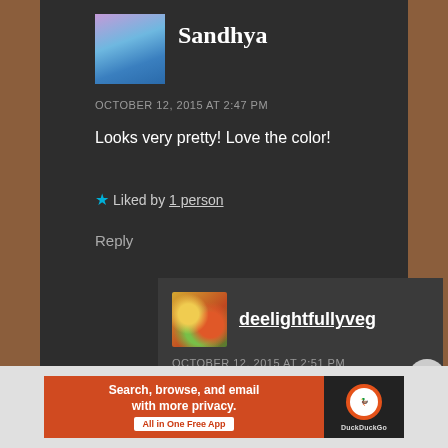Sandhya
OCTOBER 12, 2015 AT 2:47 PM
Looks very pretty! Love the color!
★ Liked by 1 person
Reply
deelightfullyveg
OCTOBER 12, 2015 AT 2:51 PM
Thank you Sandhya! Really glad you liked it 🙂
[Figure (infographic): DuckDuckGo advertisement banner: Search, browse, and email with more privacy. All in One Free App. DuckDuckGo logo.]